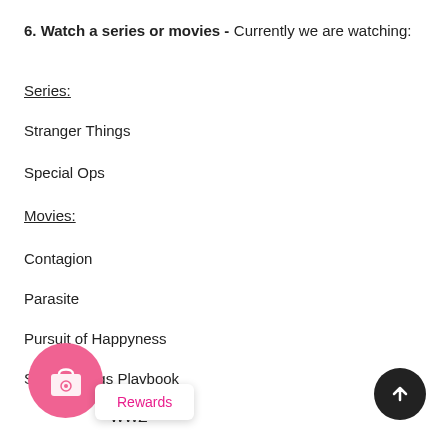6. Watch a series or movies - Currently we are watching:
Series:
Stranger Things
Special Ops
Movies:
Contagion
Parasite
Pursuit of Happyness
Silver Linings Playbook
WWZ